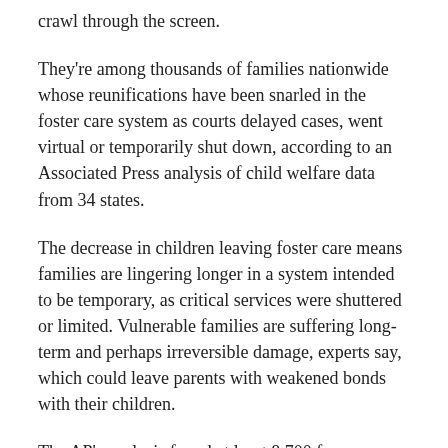crawl through the screen.
They're among thousands of families nationwide whose reunifications have been snarled in the foster care system as courts delayed cases, went virtual or temporarily shut down, according to an Associated Press analysis of child welfare data from 34 states.
The decrease in children leaving foster care means families are lingering longer in a system intended to be temporary, as critical services were shuttered or limited. Vulnerable families are suffering long-term and perhaps irreversible damage, experts say, which could leave parents with weakened bonds with their children.
The AP's analysis found at least 8,700 fewer reunifications during the early months of the pandemic compared with the March-to-December period the year before — a decrease of 16%. Adoptions, too, dropped — by 23%. Overall, at least